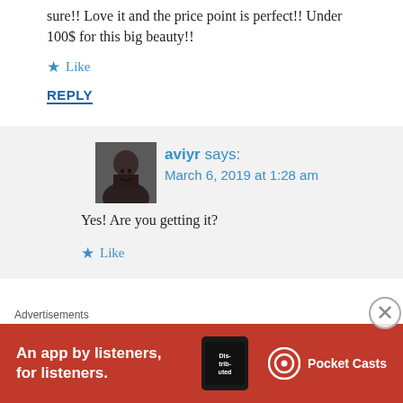sure!! Love it and the price point is perfect!! Under 100$ for this big beauty!!
★ Like
REPLY
aviyr says: March 6, 2019 at 1:28 am
Yes! Are you getting it?
★ Like
Advertisements
[Figure (illustration): Pocket Casts advertisement banner: red background with phone image showing 'Distributed' text, Pocket Casts logo, and tagline 'An app by listeners, for listeners.']